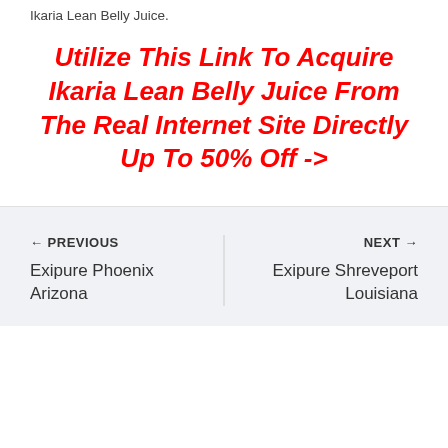Ikaria Lean Belly Juice.
Utilize This Link To Acquire Ikaria Lean Belly Juice From The Real Internet Site Directly Up To 50% Off ->
← PREVIOUS
Exipure Phoenix Arizona
NEXT →
Exipure Shreveport Louisiana